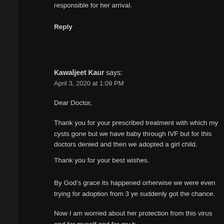responsible for her arrival.
Reply
Kawaljeet Kaur says:
April 3, 2020 at 1:09 PM
Dear Doctor,
Thank you for your prescribed treatment with which my cysts gone but we have baby through IVF but for this doctors denied and then we adopted a girl child.
Thank you for your best wishes.
By God’s grace its happened orherwise we were even trying for adoption from 3 ye suddenly got the chance.
Now I am worried about her protection from this virus and for myself and for my h too.
please suggest something.
Reply
Joe says:
April 3, 2020 at 1:25 PM
Eupatorium Perfoliatum 200c in the Wet dose will provide Prophylactic cover the Corona Virus.
This has been proved and you can read about how Elly used it and help